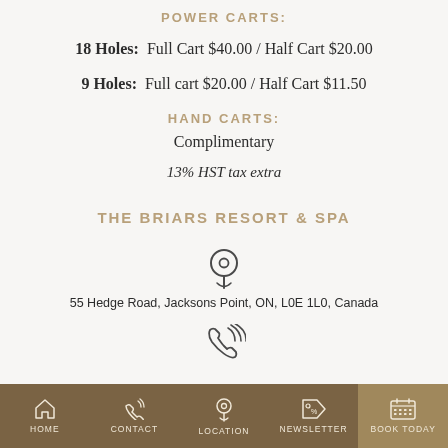POWER CARTS:
18 Holes: Full Cart $40.00 / Half Cart $20.00
9 Holes: Full cart $20.00 / Half Cart $11.50
HAND CARTS:
Complimentary
13% HST tax extra
THE BRIARS RESORT & SPA
[Figure (illustration): Map pin / location icon]
55 Hedge Road, Jacksons Point, ON, L0E 1L0, Canada
[Figure (illustration): Phone / call icon]
HOME  CONTACT  LOCATION  NEWSLETTER  BOOK TODAY